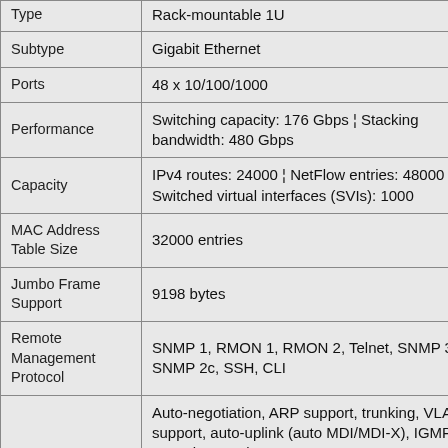| Property | Value |
| --- | --- |
| Type | Rack-mountable 1U |
| Subtype | Gigabit Ethernet |
| Ports | 48 x 10/100/1000 |
| Performance | Switching capacity: 176 Gbps ¦ Stacking bandwidth: 480 Gbps |
| Capacity | IPv4 routes: 24000 ¦ NetFlow entries: 48000 ¦ Switched virtual interfaces (SVIs): 1000 |
| MAC Address Table Size | 32000 entries |
| Jumbo Frame Support | 9198 bytes |
| Remote Management Protocol | SNMP 1, RMON 1, RMON 2, Telnet, SNMP 3, SNMP 2c, SSH, CLI |
|  | Auto-negotiation, ARP support, trunking, VLAN support, auto-uplink (auto MDI/MDI-X), IGMP snooping, Syslog ... |